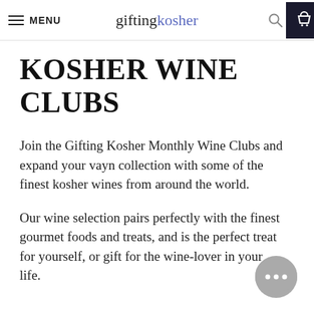MENU | giftingkosher
KOSHER WINE CLUBS
Join the Gifting Kosher Monthly Wine Clubs and expand your vayn collection with some of the finest kosher wines from around the world.
Our wine selection pairs perfectly with the finest gourmet foods and treats, and is the perfect treat for yourself, or gift for the wine-lover in your life.